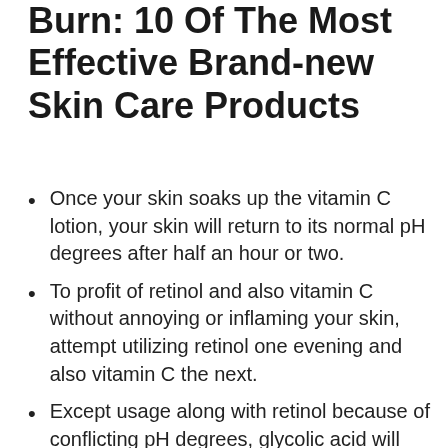Burn: 10 Of The Most Effective Brand-new Skin Care Products
Once your skin soaks up the vitamin C lotion, your skin will return to its normal pH degrees after half an hour or two.
To profit of retinol and also vitamin C without annoying or inflaming your skin, attempt utilizing retinol one evening and also vitamin C the next.
Except usage along with retinol because of conflicting pH degrees, glycolic acid will certainly increase the effectiveness of other skin treatment ingredients and also improve exfoliation, similar to salicyclic acid.
This regular permits your skin adequate time